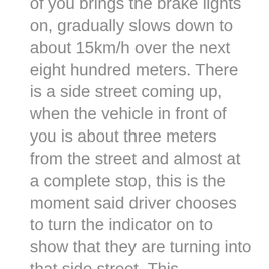of you brings the brake lights on, gradually slows down to about 15km/h over the next eight hundred meters. There is a side street coming up, when the vehicle in front of you is about three meters from the street and almost at a complete stop, this is the moment said driver chooses to turn the indicator on to show that they are turning into that side street. This behaviour is unhelpful. Cars have rear ended one another behind you, there is screeching brakes, smoke, dust, blood, fear and profanities all for want of thirty seconds notice of a drivers intentions.